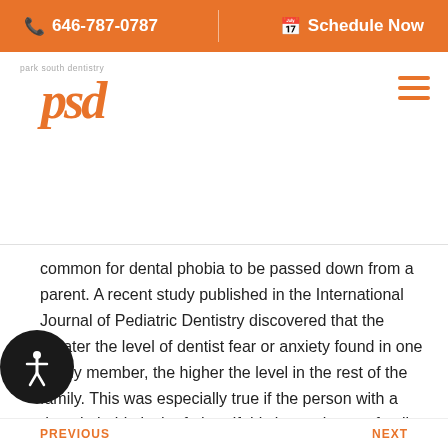📞 646-787-0787   |   📅 Schedule Now
[Figure (logo): Park South Dentistry logo with orange PSD lettermark and text 'park south dentistry']
common for dental phobia to be passed down from a parent. A recent study published in the International Journal of Pediatric Dentistry discovered that the greater the level of dentist fear or anxiety found in one family member, the higher the level in the rest of the family. This was especially true if the person with a dental phobia is the father. If this is true in your family, make sure to seek out a dentist that offers Sedation Dentistry to accommodate you or your child during essential dental treatments.
PREVIOUS   NEXT